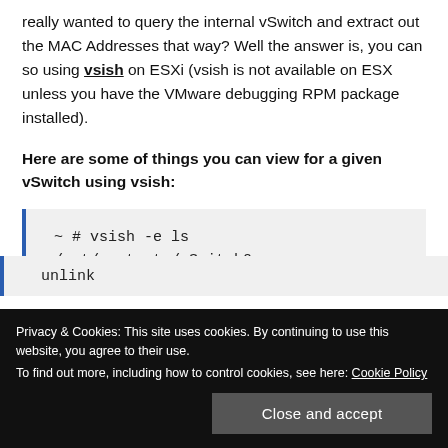really wanted to query the internal vSwitch and extract out the MAC Addresses that way? Well the answer is, you can so using vsish on ESXi (vsish is not available on ESX unless you have the VMware debugging RPM package installed).
Here are some of things you can view for a given vSwitch using vsish:
[Figure (screenshot): Code block showing: ~ # vsish -e ls /net/portsets/vSwitch0 ... unlink]
Privacy & Cookies: This site uses cookies. By continuing to use this website, you agree to their use. To find out more, including how to control cookies, see here: Cookie Policy